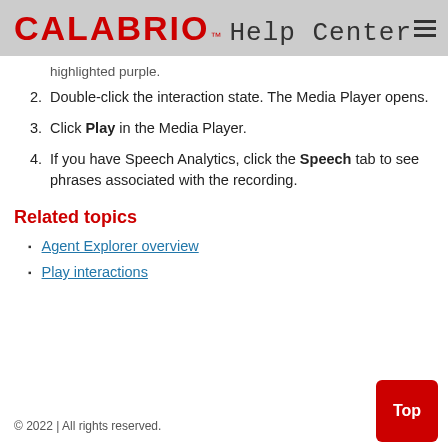CALABRIO™ Help Center
highlighted purple.
2. Double-click the interaction state. The Media Player opens.
3. Click Play in the Media Player.
4. If you have Speech Analytics, click the Speech tab to see phrases associated with the recording.
Related topics
Agent Explorer overview
Play interactions
© 2022 | All rights reserved.